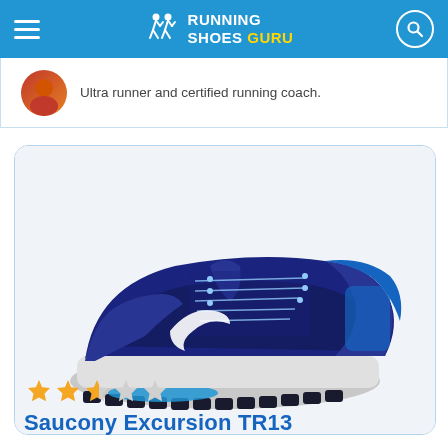Running Shoes Guru
Ultra runner and certified running coach.
[Figure (photo): Saucony Excursion TR13 trail running shoe in navy blue and black colorway with white Saucony logo, gray midsole, and blue outsole accents, shown from the lateral side on a white background.]
★★★☆☆
Saucony Excursion TR13